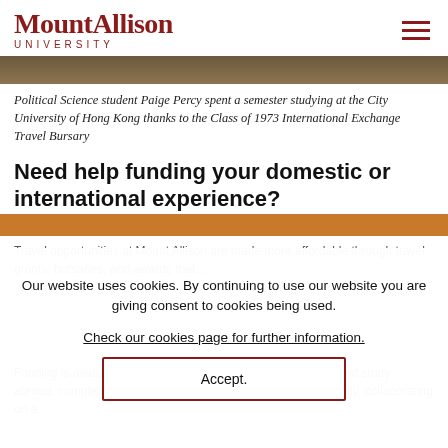[Figure (logo): Mount Allison University logo with university name in dark red serif font and hamburger menu icon]
[Figure (photo): Decorative image strip showing a partial view of a building or scene]
Political Science student Paige Percy spent a semester studying at the City University of Hong Kong thanks to the Class of 1973 International Exchange Travel Bursary
Need help funding your domestic or international experience?
Travel opportunities at Mount Allison are made more affordable through travel grants, bursaries, and awards that...
Our website uses cookies. By continuing to use our website you are giving consent to cookies being used. Check our cookies page for further information.
Accept.
Funding is available for students that are going on exchange and study abroad, completing an internship within Canada or internationally, collaborating on a...